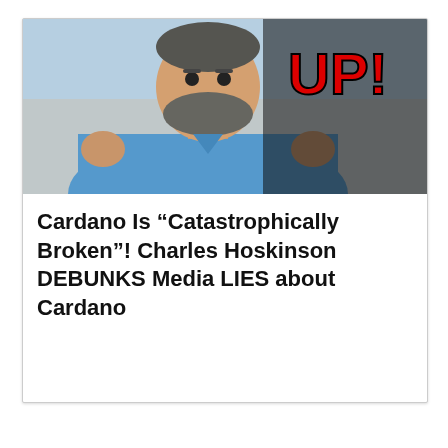[Figure (screenshot): Thumbnail image showing a bearded man in a blue shirt with a red 'UP!' text overlay in the top right corner, appearing to be a YouTube video thumbnail]
Cardano Is “Catastrophically Broken”! Charles Hoskinson DEBUNKS Media LIES about Cardano